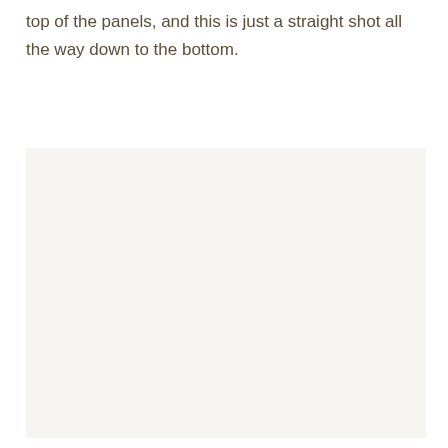top of the panels, and this is just a straight shot all the way down to the bottom.
[Figure (other): A large light beige/off-white rectangular panel area, mostly blank/empty.]